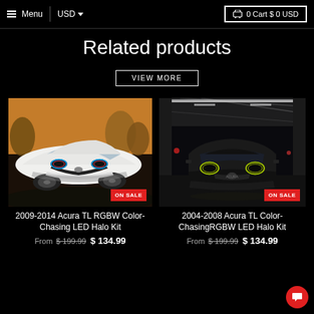Menu | USD | 0 Cart $0 USD
Related products
VIEW MORE
[Figure (photo): White Acura TL sports car from front-side angle with colorful halo headlights, ON SALE badge]
2009-2014 Acura TL RGBW Color-Chasing LED Halo Kit From $199.99 $134.99
[Figure (photo): Black Acura TL front view in tunnel with yellow halo headlights, ON SALE badge]
2004-2008 Acura TL Color-ChasingRGBW LED Halo Kit From $199.99 $134.99